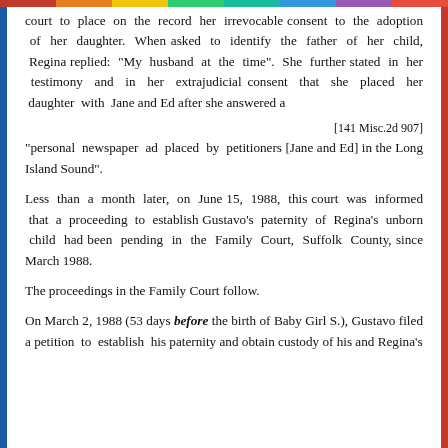court to place on the record her irrevocable consent to the adoption of her daughter. When asked to identify the father of her child, Regina replied: "My husband at the time". She further stated in her testimony and in her extrajudicial consent that she placed her daughter with Jane and Ed after she answered a
[141 Misc.2d 907]
"personal newspaper ad placed by petitioners [Jane and Ed] in the Long Island Sound".
Less than a month later, on June 15, 1988, this court was informed that a proceeding to establish Gustavo's paternity of Regina's unborn child had been pending in the Family Court, Suffolk County, since March 1988.
The proceedings in the Family Court follow.
On March 2, 1988 (53 days before the birth of Baby Girl S.), Gustavo filed a petition to establish his paternity and obtain custody of his and Regina's